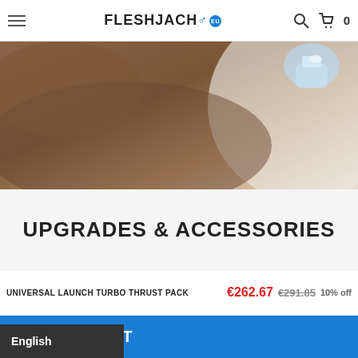FLESHJACK.EU — navigation header with hamburger menu, logo, search and cart icons
[Figure (photo): Close-up product lifestyle photo showing skin tones and a clear product bottle/accessory against light fabric background]
UPGRADES & ACCESSORIES
UNIVERSAL LAUNCH TURBO THRUST PACK  €262.67  €291.85  10% off
ADD TO CART
English